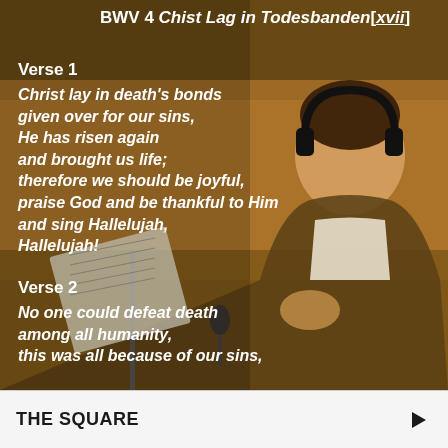[Figure (photo): A man wearing headphones and a brown jacket sits in a recording studio, holding sheet music and gesturing with his hands, against a warm amber/gold background.]
BWV 4 Chist Lag in Todesbanden[xvii]
Verse 1
Christ lay in death's bonds given over for our sins, He has risen again and brought us life; therefore we should be joyful, praise God and be thankful to Him and sing Hallelujah, Hallelujah!
Verse 2
No one could defeat death among all humanity, this was all because of our sins,
THE SQUARE